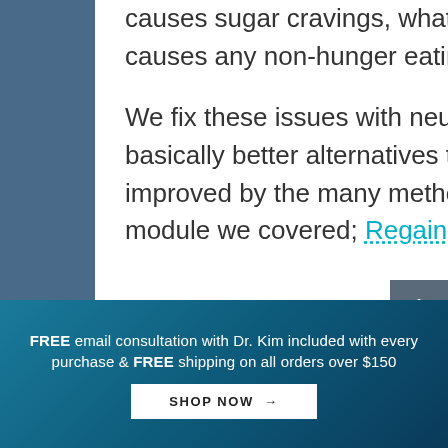causes sugar cravings, what causes compulsive eating and what causes any non-hunger eating.

We fix these issues with neurotransmitter precursors which are basically better alternatives to anti-depressants. Energy is improved by the many methods discussed in the second health module we covered; Regaining the Energy of Your Youth!
FREE email consultation with Dr. Kim included with every purchase & FREE shipping on all orders over $150
SHOP NOW →